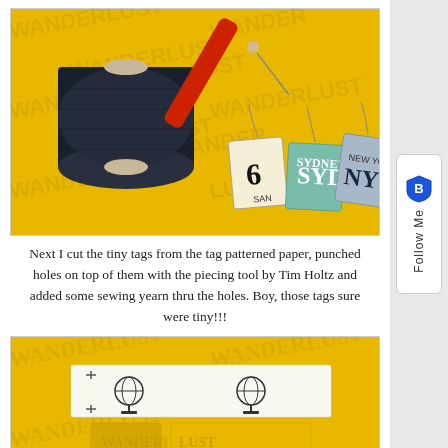[Figure (photo): Photo of a dark navy spool of thread, a red-handled piercing/awl tool, and three small luggage-style tags labeled '6 SAN', 'SYD SYDNEY', and 'NYC NEW YORK', laid on a yellow WANDERLUST patterned background.]
Next I cut the tiny tags from the tag patterned paper, punched holes on top of them with the piecing tool by Tim Holtz and added some sewing yearn thru the holes. Boy, those tags sure were tiny!!!
[Figure (photo): Photo of a white fabric strip printed with globe/world-map icons and stitching markings, laid over yellow WANDERLUST patterned paper background.]